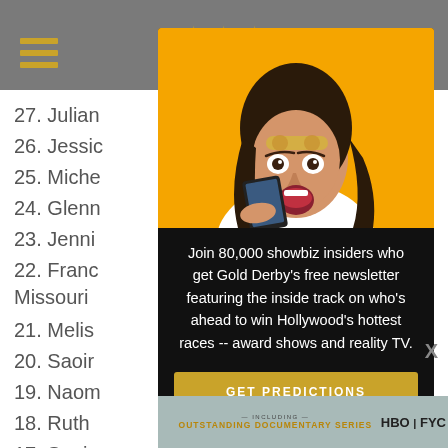Gold Derby website header with hamburger menu
27. Julian
26. Jessic
25. Miche
24. Glenn
23. Jenni
22. Franc... g, Missouri
21. Melis
20. Saoir
19. Naom
18. Ruth
17. Saoir
16. Krist
15. Vanes
14. Nicole
13. Marg
12. Pené
[Figure (photo): Woman with surprised expression holding phone against yellow background]
Join 80,000 showbiz insiders who get Gold Derby's free newsletter featuring the inside track on who's ahead to win Hollywood's hottest races -- award shows and reality TV.
GET PREDICTIONS
No thanks
[Figure (other): HBO FYC advertisement banner for Outstanding Documentary Series]